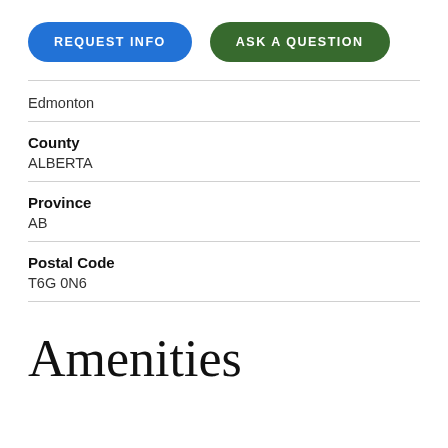[Figure (other): Two buttons: REQUEST INFO (blue pill) and ASK A QUESTION (green pill)]
Edmonton
County
ALBERTA
Province
AB
Postal Code
T6G 0N6
Amenities